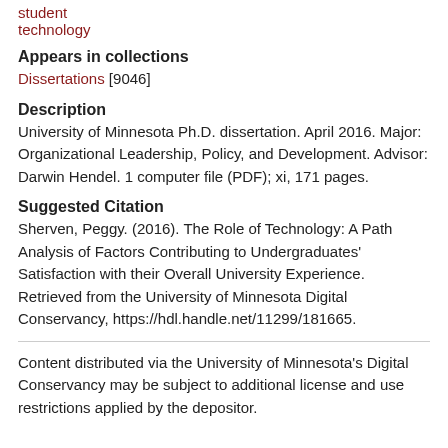student
technology
Appears in collections
Dissertations [9046]
Description
University of Minnesota Ph.D. dissertation. April 2016. Major: Organizational Leadership, Policy, and Development. Advisor: Darwin Hendel. 1 computer file (PDF); xi, 171 pages.
Suggested Citation
Sherven, Peggy. (2016). The Role of Technology: A Path Analysis of Factors Contributing to Undergraduates' Satisfaction with their Overall University Experience. Retrieved from the University of Minnesota Digital Conservancy, https://hdl.handle.net/11299/181665.
Content distributed via the University of Minnesota's Digital Conservancy may be subject to additional license and use restrictions applied by the depositor.